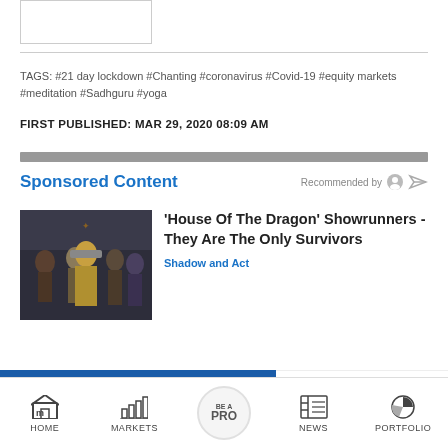[Figure (other): Small image placeholder box in top-left]
TAGS: #21 day lockdown #Chanting #coronavirus #Covid-19 #equity markets #meditation #Sadhguru #yoga
FIRST PUBLISHED: MAR 29, 2020 08:09 AM
Sponsored Content
Recommended by
[Figure (photo): Photo from House of the Dragon TV show with costumed cast members]
'House Of The Dragon' Showrunners - They Are The Only Survivors
Shadow and Act
Market & Meditation: Time to turn inward as life turns around
Moneycontrol Daily: Your Essential 7
HOME  MARKETS  BE A PRO  NEWS  PORTFOLIO